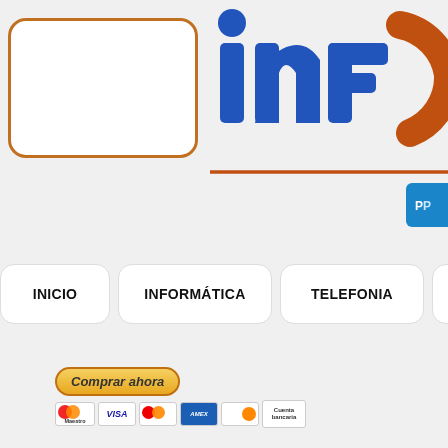[Figure (screenshot): Empty search/input box with orange rounded border on white background]
[Figure (logo): INFU... logo with blue letters and orange circular element, partially cropped on right side]
[Figure (illustration): Orange diagonal line/pencil separator]
[Figure (illustration): Comprar ahora (Buy now) PayPal button with payment card icons below: Maestro, VISA, MasterCard, American Express, Discover, Cuenta bancaria]
[Figure (screenshot): Navigation menu buttons: INICIO, INFORMÁTICA, TELEFONIA, TABLETS, SER... (partially visible)]